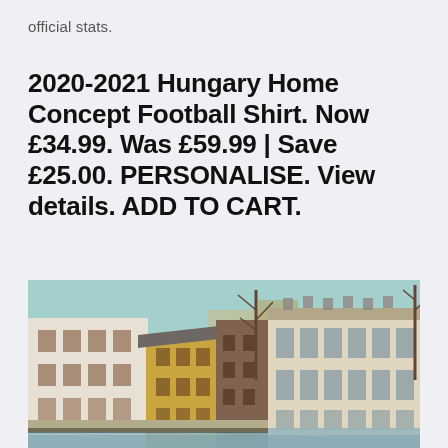official stats.
2020-2021 Hungary Home Concept Football Shirt. Now £34.99. Was £59.99 | Save £25.00. PERSONALISE. View details. ADD TO CART.
[Figure (photo): Street scene showing European-style buildings along a canal or waterway. Buildings include white and cream facades with large windows, a yellow-painted building, and a large ornate white building on the right. Bare trees visible. Sky is light blue/teal.]